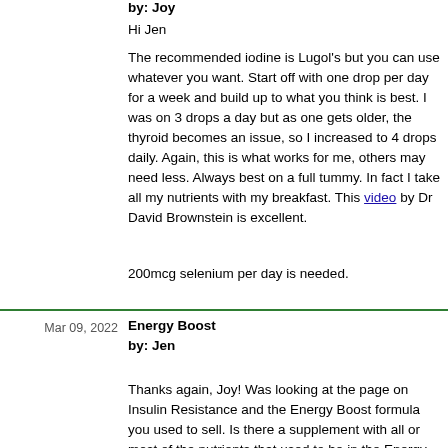by: Joy
Hi Jen
The recommended iodine is Lugol's but you can use whatever you want. Start off with one drop per day for a week and build up to what you think is best. I was on 3 drops a day but as one gets older, the thyroid becomes an issue, so I increased to 4 drops daily. Again, this is what works for me, others may need less. Always best on a full tummy. In fact I take all my nutrients with my breakfast. This video by Dr David Brownstein is excellent.
200mcg selenium per day is needed.
Mar 09, 2022
Energy Boost
by: Jen
Thanks again, Joy! Was looking at the page on Insulin Resistance and the Energy Boost formula you used to sell. Is there a supplement with all or most of the nutrients that used to be in the Energy Boost supplement that you would recommend?